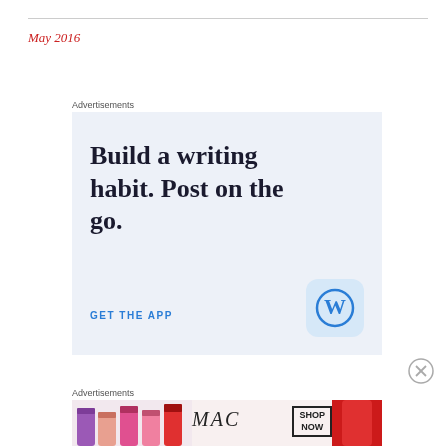May 2016
Advertisements
[Figure (infographic): WordPress app advertisement: 'Build a writing habit. Post on the go.' with GET THE APP call to action and WordPress logo on light blue background]
Advertisements
[Figure (infographic): MAC cosmetics advertisement showing lipsticks with MAC logo and SHOP NOW button]